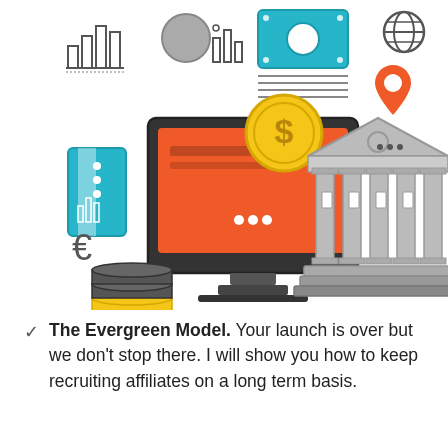[Figure (illustration): Flat-style financial illustration featuring a desktop computer with an orange screen, a gold coin with dollar sign, a credit card, stacked coins, euro symbol, a bank/government building with columns, currency notes, bar charts, globe icon, and a location pin icon.]
The Evergreen Model. Your launch is over but we don't stop there. I will show you how to keep recruiting affiliates on a long term basis.